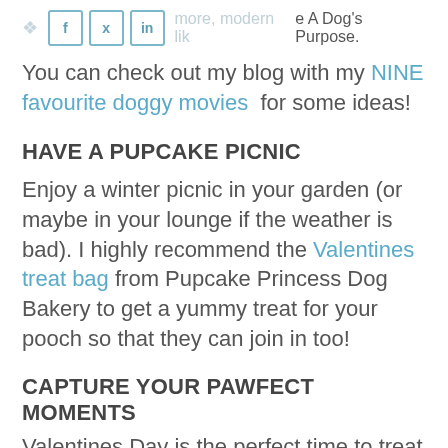more, modern like A Dog's Purpose.
You can check out my blog with my NINE favourite doggy movies  for some ideas!
HAVE A PUPCAKE PICNIC
Enjoy a winter picnic in your garden (or maybe in your lounge if the weather is bad). I highly recommend the Valentines treat bag from Pupcake Princess Dog Bakery to get a yummy treat for your pooch so that they can join in too!
CAPTURE YOUR PAWFECT MOMENTS
Valentines Day is the perfect time to treat your